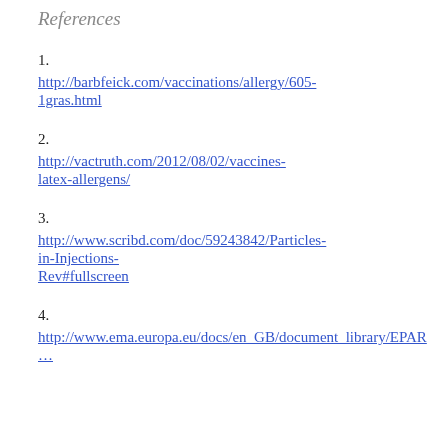References
1.
http://barbfeick.com/vaccinations/allergy/605-1gras.html
2.
http://vactruth.com/2012/08/02/vaccines-latex-allergens/
3.
http://www.scribd.com/doc/59243842/Particles-in-Injections-Rev#fullscreen
4.
http://www.ema.europa.eu/docs/en_GB/document_library/EPAR…